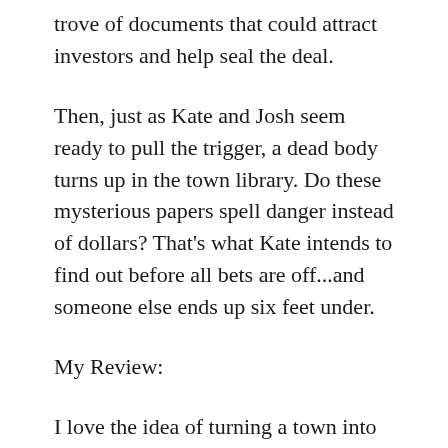trove of documents that could attract investors and help seal the deal.
Then, just as Kate and Josh seem ready to pull the trigger, a dead body turns up in the town library. Do these mysterious papers spell danger instead of dollars? That's what Kate intends to find out before all bets are off...and someone else ends up six feet under.
My Review:
I love the idea of turning a town into what it looked like in the past. Honestly, though, I wasn't sure how this series was going to progress after the first book and still stay interesting. I was pleasantly surprised. The premise of Thomas Edison selling his electricity patents and